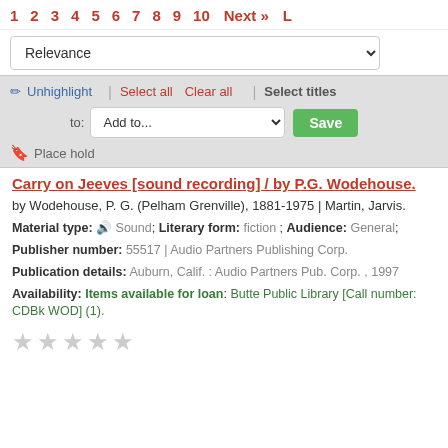1  2  3  4  5  6  7  8  9  10  Next »  L
Relevance
✏ Unhighlight | Select all  Clear all | Select titles
to: Add to...  Save
🔖 Place hold
Carry on Jeeves [sound recording] / by P.G. Wodehouse.
by Wodehouse, P. G. (Pelham Grenville), 1881-1975 | Martin, Jarvis.
Material type: Sound; Literary form: fiction ; Audience: General;
Publisher number: 55517 | Audio Partners Publishing Corp.
Publication details: Auburn, Calif. : Audio Partners Pub. Corp. , 1997
Availability: Items available for loan: Butte Public Library [Call number: CDBk WOD] (1).